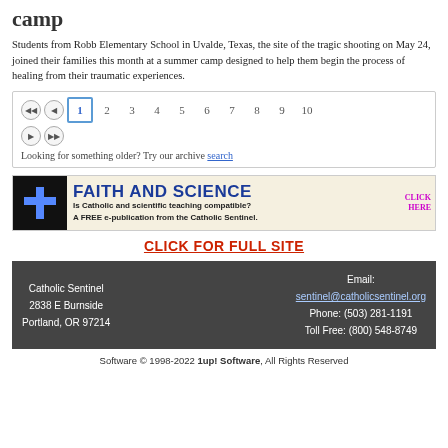camp
Students from Robb Elementary School in Uvalde, Texas, the site of the tragic shooting on May 24, joined their families this month at a summer camp designed to help them begin the process of healing from their traumatic experiences.
[Figure (other): Pagination navigation with page numbers 1-10, first/previous/next/last buttons, and archive search link]
[Figure (other): FAITH AND SCIENCE advertisement banner - Is Catholic and scientific teaching compatible? A FREE e-publication from the Catholic Sentinel. CLICK HERE]
CLICK FOR FULL SITE
Catholic Sentinel
2838 E Burnside
Portland, OR 97214
Email: sentinel@catholicsentinel.org
Phone: (503) 281-1191
Toll Free: (800) 548-8749
Software © 1998-2022 1up! Software, All Rights Reserved